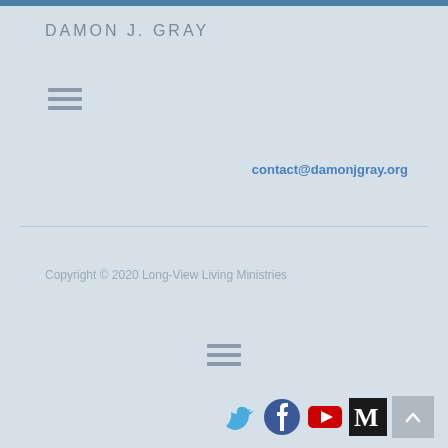DAMON J. GRAY
[Figure (other): Hamburger menu icon (three horizontal lines) near top left]
contact@damonjgray.org
Copyright © 2020 Long-View Living Ministries
[Figure (other): Hamburger menu icon (three horizontal lines) centered]
[Figure (other): Social media icons: Twitter (bird), Facebook (f), YouTube (play), Medium (M), and scroll-to-top button]